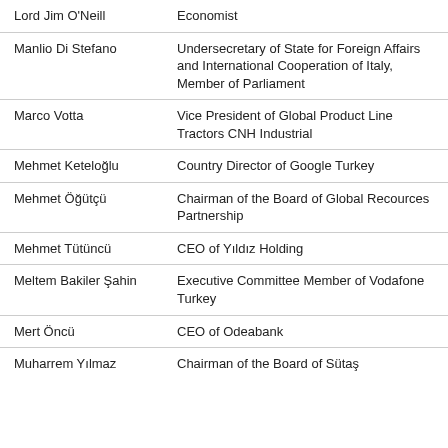| Name | Title |
| --- | --- |
| Lord Jim O'Neill | Economist |
| Manlio Di Stefano | Undersecretary of State for Foreign Affairs and International Cooperation of Italy, Member of Parliament |
| Marco Votta | Vice President of Global Product Line Tractors CNH Industrial |
| Mehmet Keteloğlu | Country Director of Google Turkey |
| Mehmet Öğütçü | Chairman of the Board of Global Recources Partnership |
| Mehmet Tütüncü | CEO of Yıldız Holding |
| Meltem Bakiler Şahin | Executive Committee Member of Vodafone Turkey |
| Mert Öncü | CEO of Odeabank |
| Muharrem Yılmaz | Chairman of the Board of Sütaş |